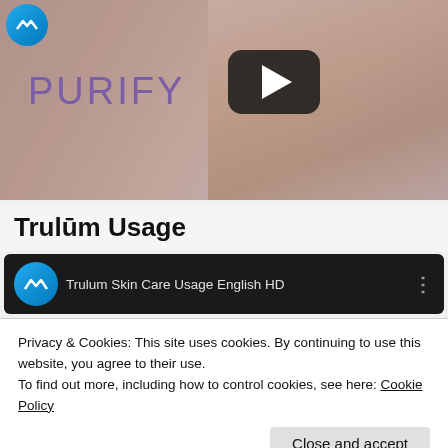[Figure (screenshot): Video thumbnail showing a woman touching her face, with 'PURIFY' text in purple and a YouTube-style play button overlay. Synergy logo circle in top-left corner.]
Trulūm Usage
[Figure (screenshot): YouTube video embed for 'Trulum Skin Care Usage English HD' with Synergy WorldWide logo and three-dot menu icon, dark background.]
Privacy & Cookies: This site uses cookies. By continuing to use this website, you agree to their use.
To find out more, including how to control cookies, see here: Cookie Policy
Close and accept